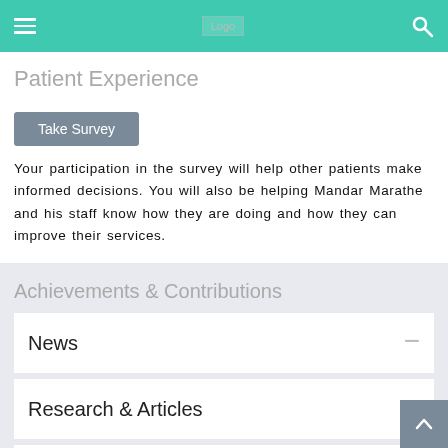Logo navigation bar with hamburger menu, logo, and search icon
Patient Experience
Take Survey
Your participation in the survey will help other patients make informed decisions. You will also be helping Mandar Marathe and his staff know how they are doing and how they can improve their services.
Achievements & Contributions
News
Research & Articles
Awards